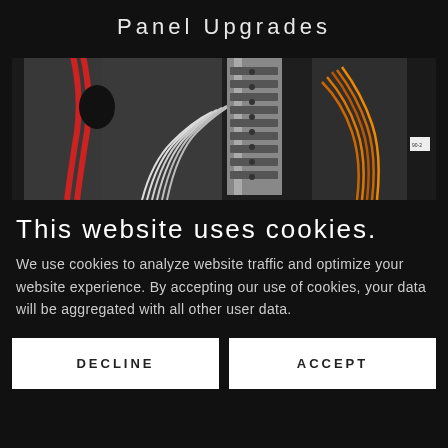Panel Upgrades
[Figure (photo): Close-up photo of an electrical panel showing wiring, circuit breakers, bus bars, and various colored wires including red and white cables.]
This website uses cookies.
We use cookies to analyze website traffic and optimize your website experience. By accepting our use of cookies, your data will be aggregated with all other user data.
DECLINE
ACCEPT